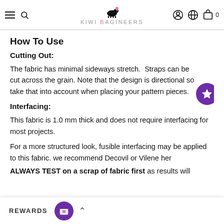KIWI BAGINEERS
How To Use
Cutting Out:
The fabric has minimal sideways stretch.  Straps can be cut across the grain. Note that the design is directional so take that into account when placing your pattern pieces.
Interfacing:
This fabric is 1.0 mm thick and does not require interfacing for most projects.
For a more structured look, fusible interfacing may be applied to this fabric. we recommend Decovil or Vilene her
ALWAYS TEST on a scrap of fabric first as results will